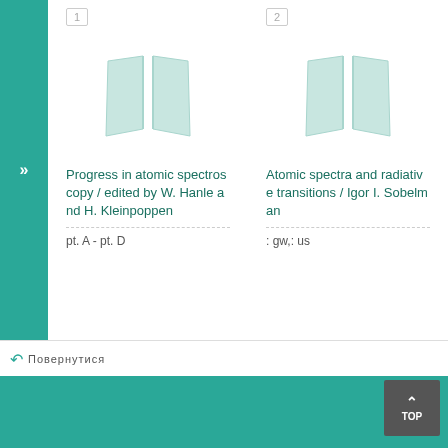1
[Figure (illustration): Book placeholder icon, two open pages, light teal/green color]
Progress in atomic spectroscopy / edited by W. Hanle and H. Kleinpoppen
pt. A - pt. D
2
[Figure (illustration): Book placeholder icon, two open pages, light teal/green color]
Atomic spectra and radiative transitions / Igor I. Sobelman
: gw,: us
»
Повернутися
TOP